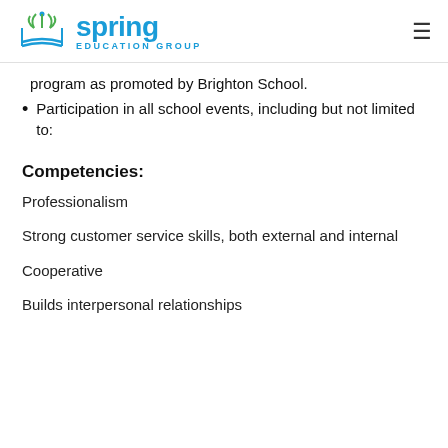[Figure (logo): Spring Education Group logo with open book icon and spring/leaves motif]
program as promoted by Brighton School.
Participation in all school events, including but not limited to:
Competencies:
Professionalism
Strong customer service skills, both external and internal
Cooperative
Builds interpersonal relationships